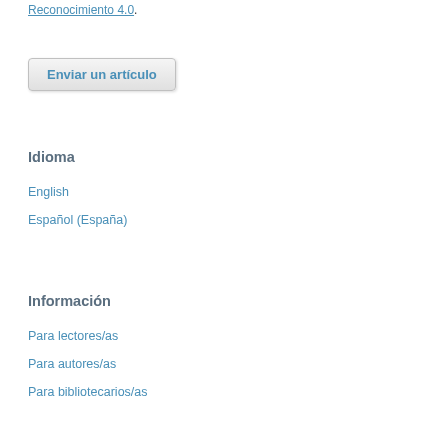Reconocimiento 4.0.
[Figure (other): Button labeled 'Enviar un artículo']
Idioma
English
Español (España)
Información
Para lectores/as
Para autores/as
Para bibliotecarios/as